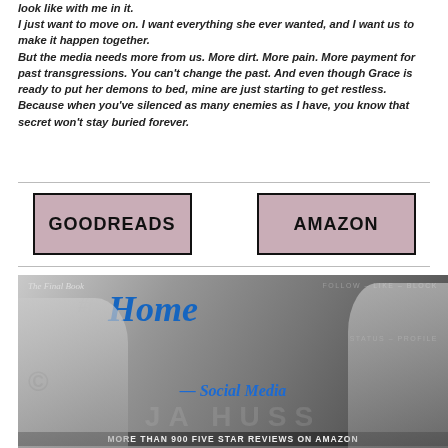look like with me in it. I just want to move on. I want everything she ever wanted, and I want us to make it happen together. But the media needs more from us. More dirt. More pain. More payment for past transgressions. You can't change the past. And even though Grace is ready to put her demons to bed, mine are just starting to get restless. Because when you've silenced as many enemies as I have, you know that secret won't stay buried forever.
[Figure (other): GOODREADS button — pink/mauve rectangle with bold black border]
[Figure (other): AMAZON button — pink/mauve rectangle with bold black border]
[Figure (illustration): Book cover for 'Home: Social Media #6' by JA Huss — black and white photo of blonde woman and shirtless man, blue script title 'Home', text 'The Final Book #6', 'FOLLOW - LIKE - BLOCK', 'STATUS - PROFILE', 'Social Media', 'MORE THAN 900 FIVE STAR REVIEWS ON AMAZON']